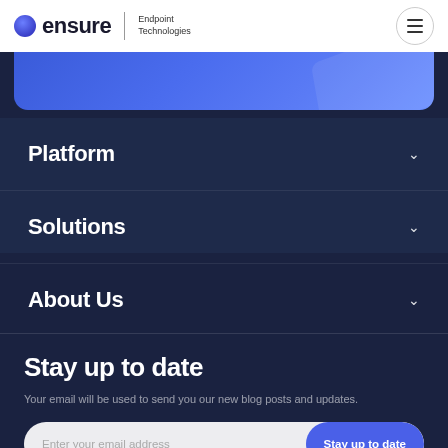ensure | Endpoint Technologies
[Figure (illustration): Blue gradient card with decorative diagonal shape]
Platform
Solutions
About Us
Stay up to date
Your email will be used to send you our new blog posts and updates.
Enter your email address  Stay up to date